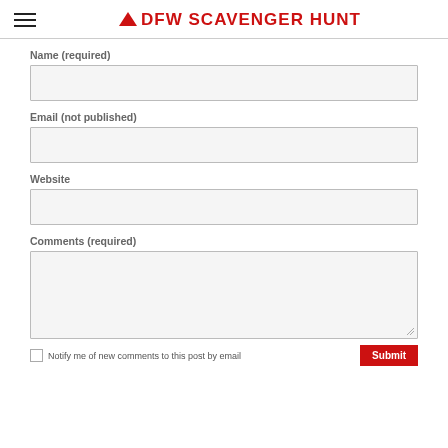DFW SCAVENGER HUNT
Name (required)
[Figure (other): Text input field for Name]
Email (not published)
[Figure (other): Text input field for Email]
Website
[Figure (other): Text input field for Website]
Comments (required)
[Figure (other): Textarea for Comments]
Notify me of new comments to this post by email